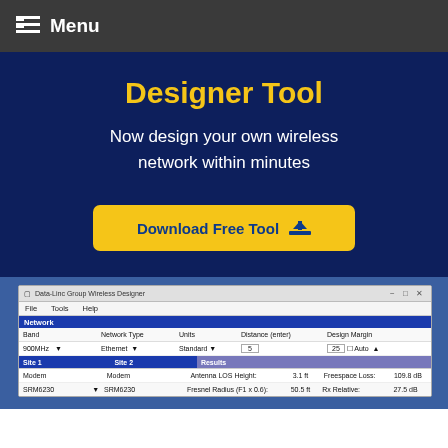Menu
Designer Tool
Now design your own wireless network within minutes
Download Free Tool
[Figure (screenshot): Screenshot of Data-Linc Group Wireless Designer software showing network configuration with Band: 900MHz, Network Type: Ethernet, Units: Standard, Distance (enter): 5, Design Margin: 25 Auto. Site 1, Site 2, Results tabs visible. Modem SRM6230 configuration with Antenna LOS Height: 3.1 ft, Fresnel Radius (F1 x 0.6): 50.5 ft, Antenna Height: 53.7 ft, Freespace Loss: 109.8 dB, Rx Relative: 27.5 dB, Max Distance: 6.7 mi.]